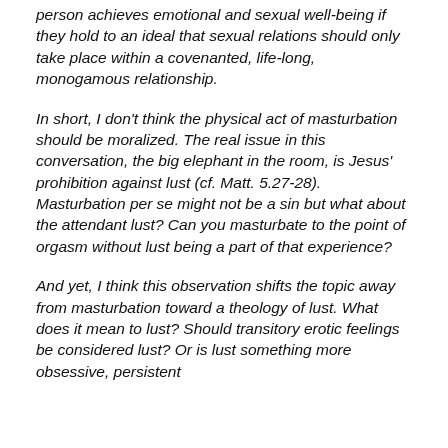person achieves emotional and sexual well-being if they hold to an ideal that sexual relations should only take place within a covenanted, life-long, monogamous relationship.
In short, I don't think the physical act of masturbation should be moralized. The real issue in this conversation, the big elephant in the room, is Jesus' prohibition against lust (cf. Matt. 5.27-28). Masturbation per se might not be a sin but what about the attendant lust? Can you masturbate to the point of orgasm without lust being a part of that experience?
And yet, I think this observation shifts the topic away from masturbation toward a theology of lust. What does it mean to lust? Should transitory erotic feelings be considered lust? Or is lust something more obsessive, persistent